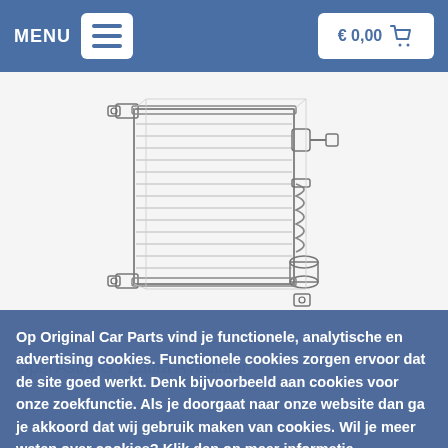MENU  € 0,00
[Figure (illustration): Technical line drawing of an Opel Astra G / Zafira A car radiator, showing the radiator core with mounting brackets on the top and bottom, and coolant hoses/connections on the right side with a spring-style overflow tank.]
Opel Astra G / Zafira A radiator
Op Original Car Parts vind je functionele, analytische en advertising cookies. Functionele cookies zorgen ervoor dat de site goed werkt. Denk bijvoorbeeld aan cookies voor onze zoekfunctie. Als je doorgaat naar onze website dan ga je akkoord dat wij gebruik maken van cookies. Wil je meer weten over cookies? Klik dan op meer informatie
✔ Sluiten
Meer informatie